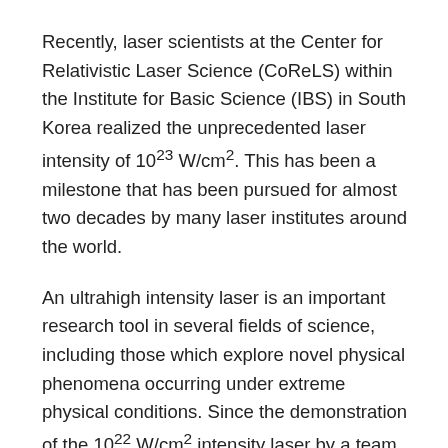Recently, laser scientists at the Center for Relativistic Laser Science (CoReLS) within the Institute for Basic Science (IBS) in South Korea realized the unprecedented laser intensity of 10^23 W/cm^2. This has been a milestone that has been pursued for almost two decades by many laser institutes around the world.
An ultrahigh intensity laser is an important research tool in several fields of science, including those which explore novel physical phenomena occurring under extreme physical conditions. Since the demonstration of the 10^22 W/cm^2 intensity laser by a team at the University of Michigan in 2004, the realization of laser intensity over 10^23 W/cm^2 has been pursued for nearly 20 years.
In general, achieving such a level of ultra-high laser intensity requires two things: laser with extremely high